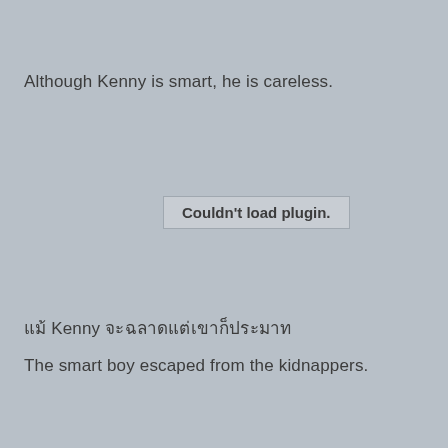Although Kenny is smart, he is careless.
Couldn't load plugin.
แม้ Kenny จะฉลาดแต่เขาก็ประมาท
The smart boy escaped from the kidnappers.